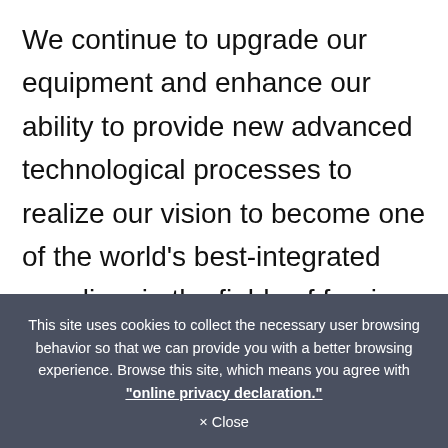We continue to upgrade our equipment and enhance our ability to provide new advanced technological processes to realize our vision to become one of the world's best-integrated suppliers in the fields of forging, stamping and machining. We are committed to continue to diversify our product development skills into wider industries, such as mountaineering equipment, shipbuilding, sports
This site uses cookies to collect the necessary user browsing behavior so that we can provide you with a better browsing experience. Browse this site, which means you agree with "online privacy declaration."
× Close